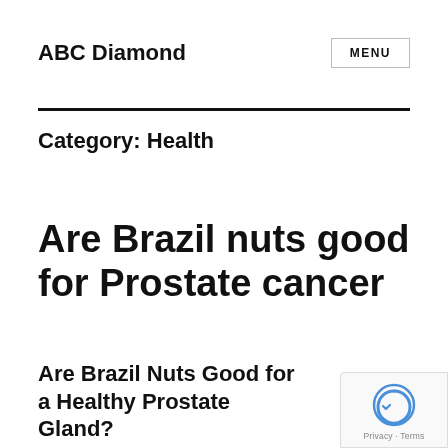ABC Diamond
MENU
Category: Health
Are Brazil nuts good for Prostate cancer
Are Brazil Nuts Good for a Healthy Prostate Gland?